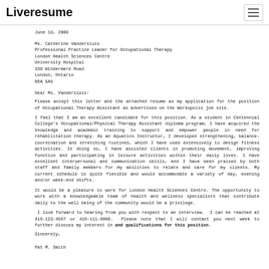Liveresume
June 18, 2008
Ms. Catherine Vandersluis
Professional Practice Leader for Occupational Therapy
London Health Sciences Centre
University Hospital
339 Windermere Road
London, Ontario
N6A 5A5
Dear Ms. Vandersluis:
Please accept this letter and the attached resume as my application for the position of Occupational Therapy Assistant as advertised on the Workopolis job site.
I feel that I am an excellent candidate for this position. As a student in Centennial College's Occupational/Physical Therapy Assistant diploma program, I have acquired the knowledge and academic training to support and empower people in need for rehabilitation therapy. As an Aquatics Instructor, I developed strengthening, balance-coordination and stretching routines, which I have used extensively to design fitness activities. In doing so, I have assisted clients in promoting movement, improving function and participating in leisure activities within their daily lives. I have excellent interpersonal and communication skills, and I have been praised by both staff and family members for my abilities to relate and care for my clients. My current schedule is quite flexible and would accommodate a variety of day, evening and/or week-end shifts.
It would be a pleasure to work for London Health Sciences Centre. The opportunity to work with a knowledgeable team of health and wellness specialists that contribute daily to the well being of the community would be a privilege.
I look forward to hearing from you with respect to an interview.  I can be reached at 416-123-4567 or 416-111-9999.  Please note that I will contact you next week to further discuss my interest in and qualifications for this position.
Sincerely,
Pat M. Smith